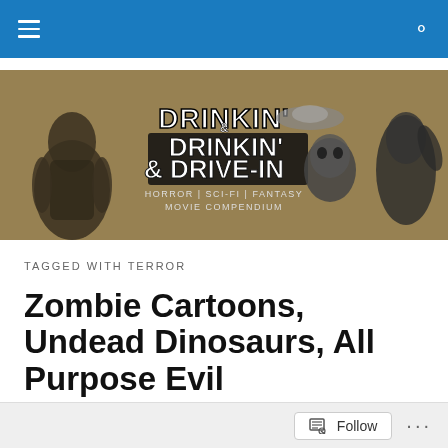Navigation bar with menu and search icons
[Figure (illustration): Drinkin' & Drive-In horror sci-fi fantasy movie compendium banner with vintage monster movie imagery in sepia/black and white, featuring Creature from the Black Lagoon, a zombie face, and Godzilla]
TAGGED WITH TERROR
Zombie Cartoons, Undead Dinosaurs, All Purpose Evil
From artist Joe Gallimore comes a wicked cool mash-up with Michael Myers from Halloween (1978) and the
Follow ...